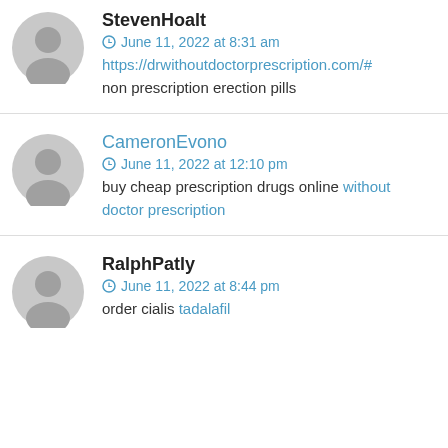StevenHoalt
June 11, 2022 at 8:31 am
https://drwithoutdoctorprescription.com/#
non prescription erection pills
CameronEvono
June 11, 2022 at 12:10 pm
buy cheap prescription drugs online without doctor prescription
RalphPatly
June 11, 2022 at 8:44 pm
order cialis tadalafil